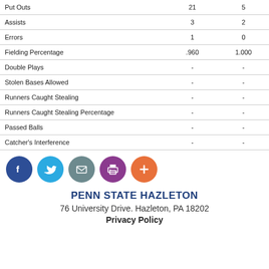|  |  |  |
| --- | --- | --- |
| Put Outs | 21 | 5 |
| Assists | 3 | 2 |
| Errors | 1 | 0 |
| Fielding Percentage | .960 | 1.000 |
| Double Plays | - | - |
| Stolen Bases Allowed | - | - |
| Runners Caught Stealing | - | - |
| Runners Caught Stealing Percentage | - | - |
| Passed Balls | - | - |
| Catcher's Interference | - | - |
[Figure (infographic): Row of five social media icon circles: Facebook (dark blue), Twitter (light blue), Email (grey-teal), Print (purple), Add/Plus (orange)]
PENN STATE HAZLETON
76 University Drive. Hazleton, PA 18202
Privacy Policy